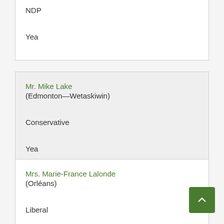NDP
Yea
Mr. Mike Lake (Edmonton—Wetaskiwin)
Conservative
Yea
Mrs. Marie-France Lalonde (Orléans)
Liberal
Yea